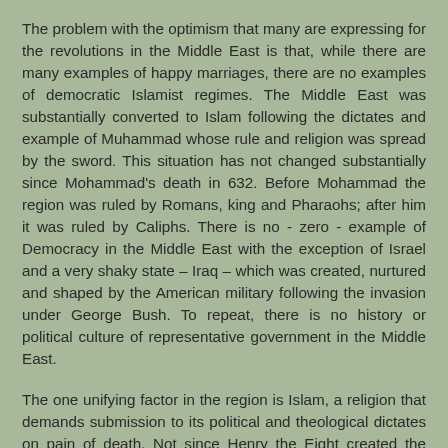The problem with the optimism that many are expressing for the revolutions in the Middle East is that, while there are many examples of happy marriages, there are no examples of democratic Islamist regimes. The Middle East was substantially converted to Islam following the dictates and example of Muhammad whose rule and religion was spread by the sword. This situation has not changed substantially since Mohammad's death in 632. Before Mohammad the region was ruled by Romans, king and Pharaohs; after him it was ruled by Caliphs. There is no - zero - example of Democracy in the Middle East with the exception of Israel and a very shaky state – Iraq – which was created, nurtured and shaped by the American military following the invasion under George Bush. To repeat, there is no history or political culture of representative government in the Middle East.
The one unifying factor in the region is Islam, a religion that demands submission to its political and theological dictates on pain of death. Not since Henry the Eight created the English church and became its political head have rulers held such secular and religious power.